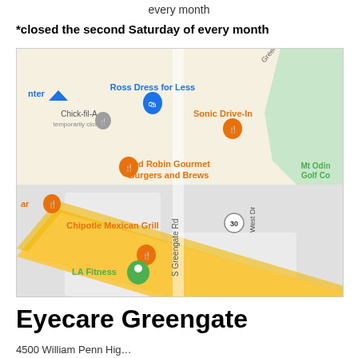every month
*closed the second Saturday of every month
[Figure (map): Google Maps screenshot showing area near S Greengate Rd with landmarks: Ross Dress for Less, Sonic Drive-In, Red Robin Gourmet Burgers and Brews, Chipotle Mexican Grill, Chick-fil-A (temporarily closed), LA Fitness, Mt Odin Golf Co, highway 30]
Eyecare Greengate
4500 William Penn Hig...